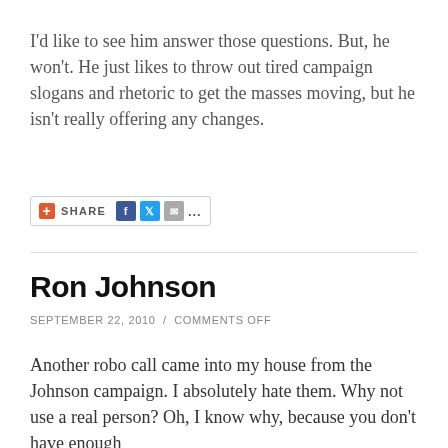I'd like to see him answer those questions.  But, he won't.  He just likes to throw out tired campaign slogans and rhetoric to get the masses moving, but he isn't really offering any changes.
[Figure (other): Share widget with AddThis plus button, SHARE label, and social media icons for Facebook, Twitter, email, and more]
Ron Johnson
SEPTEMBER 22, 2010 / COMMENTS OFF
Another robo call came into my house from the Johnson campaign.  I absolutely hate them.  Why not use a real person?  Oh, I know why, because you don't have enough